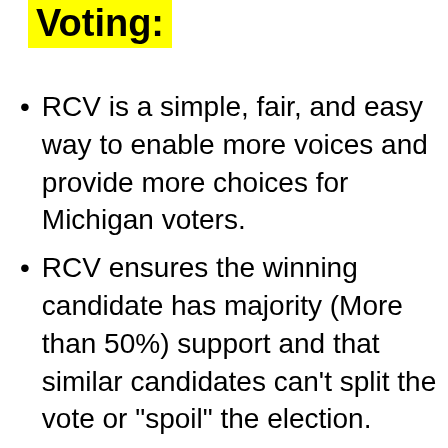Voting:
RCV is a simple, fair, and easy way to enable more voices and provide more choices for Michigan voters.
RCV ensures the winning candidate has majority (More than 50%) support and that similar candidates can’t split the vote or “spoil” the election.
Instead of picking just one candidate, RCV allows you to rank any or even all the candidates on your ballot — ensuring EVERY